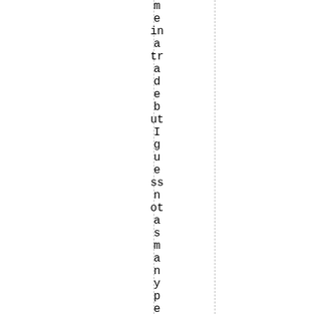me in a trade but I guess not as many people bo u